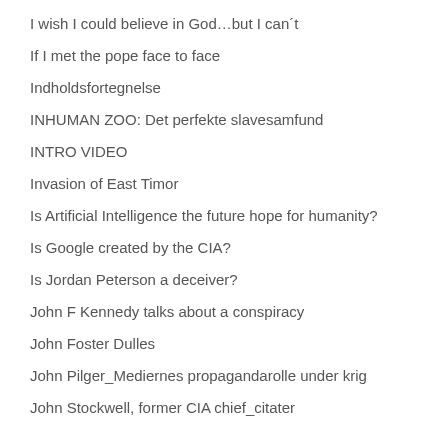I wish I could believe in God…but I can´t
If I met the pope face to face
Indholdsfortegnelse
INHUMAN ZOO: Det perfekte slavesamfund
INTRO VIDEO
Invasion of East Timor
Is Artificial Intelligence the future hope for humanity?
Is Google created by the CIA?
Is Jordan Peterson a deceiver?
John F Kennedy talks about a conspiracy
John Foster Dulles
John Pilger_Mediernes propagandarolle under krig
John Stockwell, former CIA chief_citater